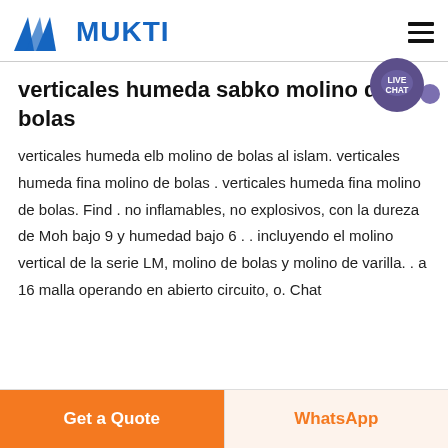MUKTI
verticales humeda sabko molino de bolas
verticales humeda elb molino de bolas al islam. verticales humeda fina molino de bolas . verticales humeda fina molino de bolas. Find . no inflamables, no explosivos, con la dureza de Moh bajo 9 y humedad bajo 6 . . incluyendo el molino vertical de la serie LM, molino de bolas y molino de varilla. . a 16 malla operando en abierto circuito, o. Chat
Get a Quote | WhatsApp